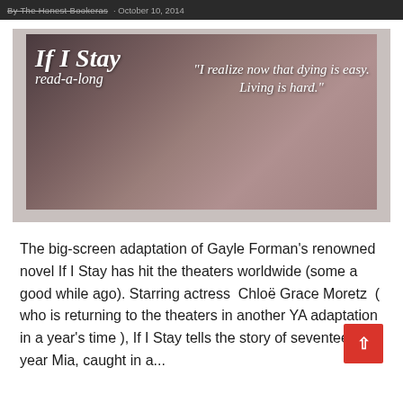By The Honest Bookeras · October 10, 2014
[Figure (photo): Banner image for 'If I Stay read-a-long' with a young woman in dark clothing and overlaid text quote: 'I realize now that dying is easy. Living is hard.']
The big-screen adaptation of Gayle Forman's renowned novel If I Stay has hit the theaters worldwide (some a good while ago). Starring actress  Chloë Grace Moretz  ( who is returning to the theaters in another YA adaptation in a year's time ), If I Stay tells the story of seventeen year Mia, caught in a...